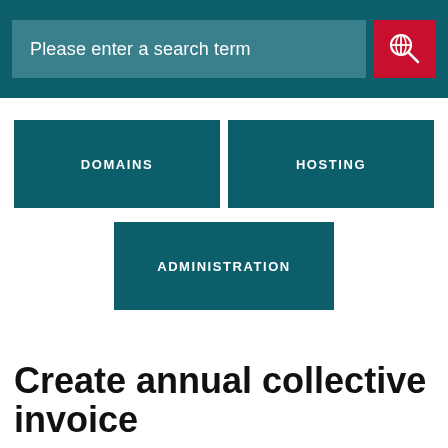[Figure (screenshot): Search bar with teal background, text input field saying 'Please enter a search term', and a red search button with a globe/magnifier icon]
[Figure (infographic): Navigation buttons: DOMAINS (top left), HOSTING (top right), ADMINISTRATION (center bottom)]
Create annual collective invoice